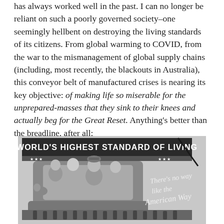has always worked well in the past. I can no longer be reliant on such a poorly governed society–one seemingly hellbent on destroying the living standards of its citizens. From global warming to COVID, from the war to the mismanagement of global supply chains (including, most recently, the blackouts in Australia), this conveyor belt of manufactured crises is nearing its key objective: of making life so miserable for the unprepared-masses that they sink to their knees and actually beg for the Great Reset. Anything's better than the breadline, after all:
[Figure (photo): Black and white photograph of the famous 1937 Margaret Bourke-White photograph showing a billboard reading 'WORLD'S HIGHEST STANDARD OF LIVING' with a happy white American family in a car, and text 'There's no way like the American Way', with a line of Black flood refugees below the billboard.]